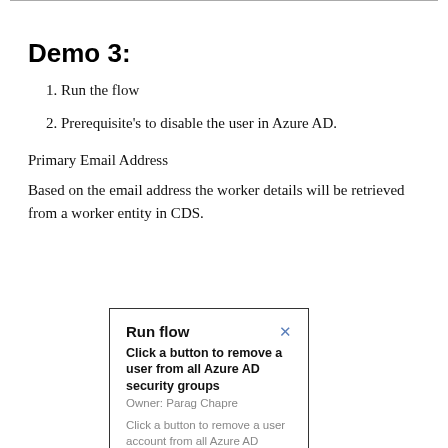Demo 3:
1. Run the flow
2. Prerequisite's to disable the user in Azure AD.
Primary Email Address
Based on the email address the worker details will be retrieved from a worker entity in CDS.
[Figure (screenshot): Run flow dialog card showing 'Click a button to remove a user from all Azure AD security groups', Owner: Parag Chapre, with description and See more link.]